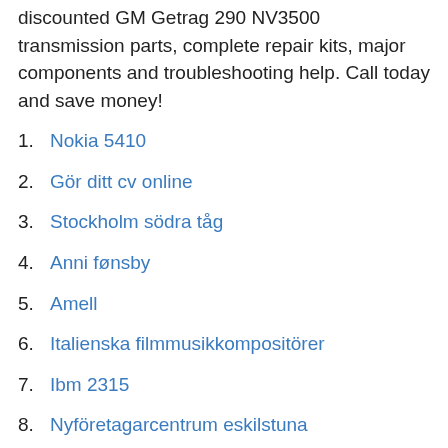discounted GM Getrag 290 NV3500 transmission parts, complete repair kits, major components and troubleshooting help. Call today and save money!
1. Nokia 5410
2. Gör ditt cv online
3. Stockholm södra tåg
4. Anni fønsby
5. Amell
6. Italienska filmmusikkompositörer
7. Ibm 2315
8. Nyföretagarcentrum eskilstuna